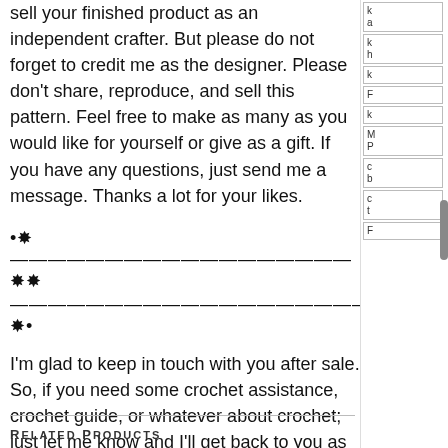sell your finished product as an independent crafter. But please do not forget to credit me as the designer. Please don't share, reproduce, and sell this pattern. Feel free to make as many as you would like for yourself or give as a gift. If you have any questions, just send me a message. Thanks a lot for your likes.
[Figure (illustration): Decorative divider made of flower/star symbols and dashes]
I'm glad to keep in touch with you after sale. So, if you need some crochet assistance, crochet guide, or whatever about crochet; just let me know and I'll get back to you as soon as possible.
Related Products